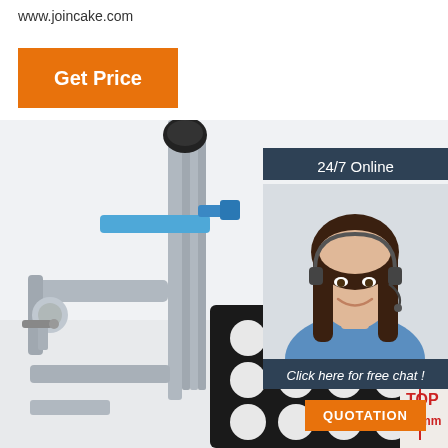www.joincake.com
Get Price
[Figure (photo): Industrial cake cutting or filling machine with metal frame, blue ribbon guide, and black perforated tray with circular holes. A red measurement line shows TOP 220mm.]
24/7 Online
[Figure (photo): Customer service agent woman with headset smiling, wearing blue shirt.]
Click here for free chat !
QUOTATION